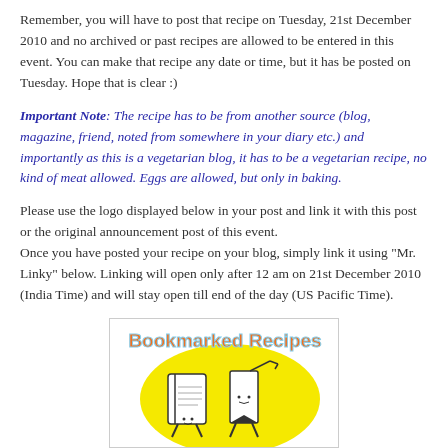Remember, you will have to post that recipe on Tuesday, 21st December 2010 and no archived or past recipes are allowed to be entered in this event. You can make that recipe any date or time, but it has be posted on Tuesday. Hope that is clear :)
Important Note: The recipe has to be from another source (blog, magazine, friend, noted from somewhere in your diary etc.) and importantly as this is a vegetarian blog, it has to be a vegetarian recipe, no kind of meat allowed. Eggs are allowed, but only in baking.
Please use the logo displayed below in your post and link it with this post or the original announcement post of this event. Once you have posted your recipe on your blog, simply link it using "Mr. Linky" below. Linking will open only after 12 am on 21st December 2010 (India Time) and will stay open till end of the day (US Pacific Time).
[Figure (logo): Bookmarked Recipes logo with cartoon book and bookmark characters on a yellow background]